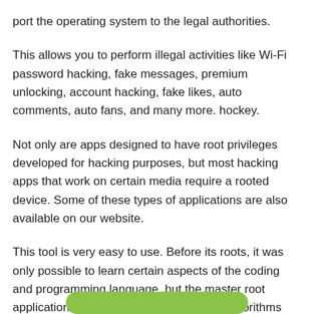port the operating system to the legal authorities.
This allows you to perform illegal activities like Wi-Fi password hacking, fake messages, premium unlocking, account hacking, fake likes, auto comments, auto fans, and many more. hockey.
Not only are apps designed to have root privileges developed for hacking purposes, but most hacking apps that work on certain media require a rooted device. Some of these types of applications are also available on our website.
This tool is very easy to use. Before its roots, it was only possible to learn certain aspects of the coding and programming language, but the master root application solved this problem by using algorithms and strategic ideas.
[Figure (other): Green rounded button at the bottom of the page]